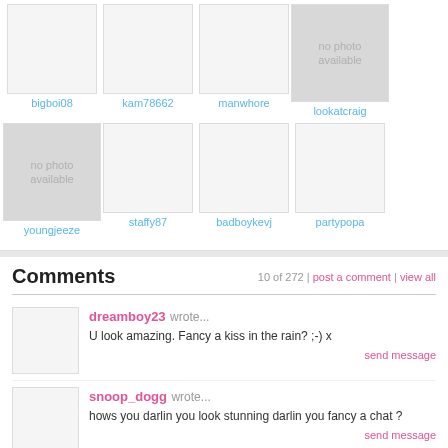[Figure (photo): Profile grid row 1: bigboi08, kam78662, manwhore, lookatcraig (lookatcraig has no photo available placeholder)]
[Figure (photo): Profile grid row 2: youngjeeze (no photo available), staffy87, badboykevj, partypopa]
Comments
10 of 272 | post a comment | view all
dreamboy23 wrote... U look amazing. Fancy a kiss in the rain? ;-) x send message
snoop_dogg wrote... hows you darlin you look stunning darlin you fancy a chat ? send message
brooksy140 wrote... hey hows u? im working ur way soon for a while not been b4. ur gorgeous. can i add u to msn or bbm? xx